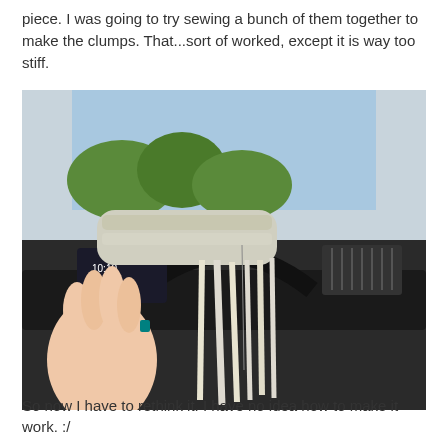piece. I was going to try sewing a bunch of them together to make the clumps. That...sort of worked, except it is way too stiff.
[Figure (photo): A hand holding a sewn bundle of yarn/fabric strips inside a car, with the car dashboard and windshield visible in the background.]
So now I have to rethink it. I have no idea how to make it work. :/